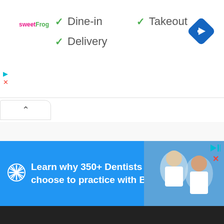[Figure (logo): sweetFrog logo in pink and green text]
✓ Dine-in
✓ Takeout
✓ Delivery
[Figure (illustration): Blue diamond-shaped navigation/directions icon with right-turn arrow]
[Figure (screenshot): Collapse/chevron up button UI element]
[Figure (infographic): Advertisement banner: Learn why 350+ Dentists choose to practice with Benevis, with photo of dental professionals on right side]